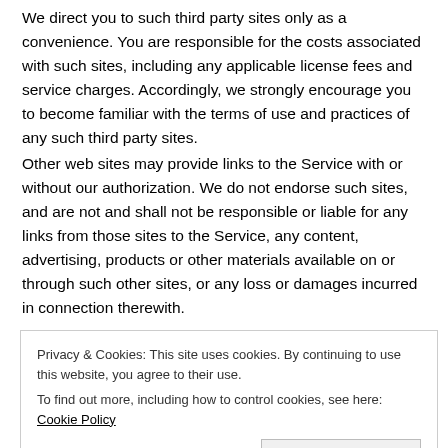We direct you to such third party sites only as a convenience. You are responsible for the costs associated with such sites, including any applicable license fees and service charges. Accordingly, we strongly encourage you to become familiar with the terms of use and practices of any such third party sites.
Other web sites may provide links to the Service with or without our authorization. We do not endorse such sites, and are not and shall not be responsible or liable for any links from those sites to the Service, any content, advertising, products or other materials available on or through such other sites, or any loss or damages incurred in connection therewith.
Use of the Service
Privacy & Cookies: This site uses cookies. By continuing to use this website, you agree to their use.
To find out more, including how to control cookies, see here: Cookie Policy
Close and accept
nonexclusive, limited right and license to access the Service...